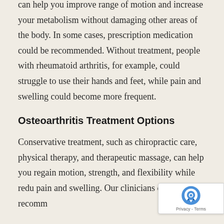can help you improve range of motion and increase your metabolism without damaging other areas of the body. In some cases, prescription medication could be recommended. Without treatment, people with rheumatoid arthritis, for example, could struggle to use their hands and feet, while pain and swelling could become more frequent.
Osteoarthritis Treatment Options
Conservative treatment, such as chiropractic care, physical therapy, and therapeutic massage, can help you regain motion, strength, and flexibility while redu... pain and swelling. Our clinicians can also recomm...